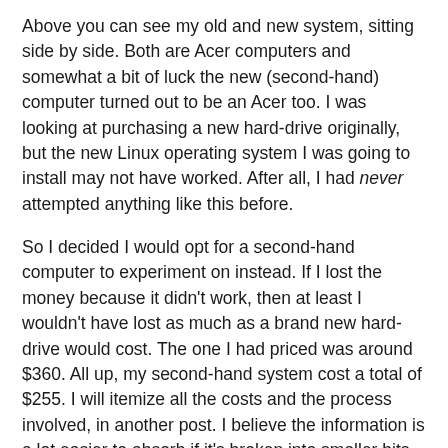Above you can see my old and new system, sitting side by side. Both are Acer computers and somewhat a bit of luck the new (second-hand) computer turned out to be an Acer too. I was looking at purchasing a new hard-drive originally, but the new Linux operating system I was going to install may not have worked. After all, I had never attempted anything like this before.
So I decided I would opt for a second-hand computer to experiment on instead. If I lost the money because it didn't work, then at least I wouldn't have lost as much as a brand new hard-drive would cost. The one I had priced was around $360. All up, my second-hand system cost a total of $255. I will itemize all the costs and the process involved, in another post. I believe the information is a lot easier to absorb if it's broken into smaller bits.
I think the new Acer blends in well with my existing monitor, keyboard and mouse. I didn't have to replace them and that gave me a great deal of satisfaction. I know you can get bigger monitors (mine is 17 inches) but it works perfectly fine and I don't do a lot of video editing to justify an upgrade.